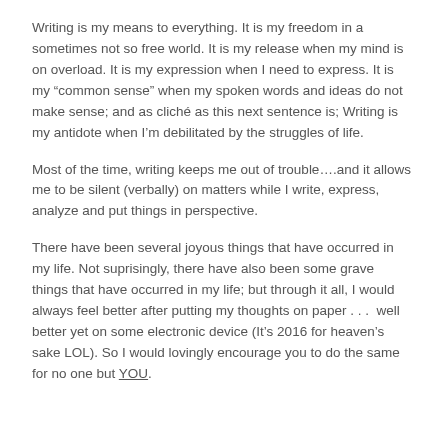Writing is my means to everything. It is my freedom in a sometimes not so free world. It is my release when my mind is on overload. It is my expression when I need to express. It is my “common sense” when my spoken words and ideas do not make sense; and as cliché as this next sentence is; Writing is my antidote when I’m debilitated by the struggles of life.
Most of the time, writing keeps me out of trouble….and it allows me to be silent (verbally) on matters while I write, express, analyze and put things in perspective.
There have been several joyous things that have occurred in my life. Not suprisingly, there have also been some grave things that have occurred in my life; but through it all, I would always feel better after putting my thoughts on paper . . .  well better yet on some electronic device (It’s 2016 for heaven’s sake LOL). So I would lovingly encourage you to do the same for no one but YOU.